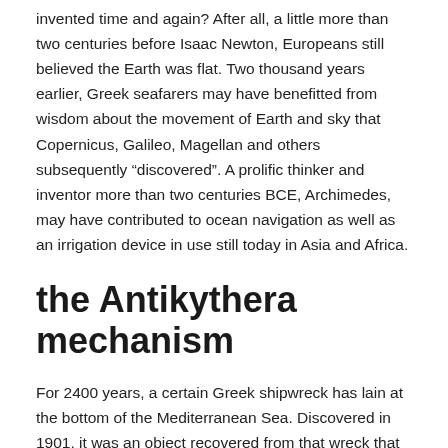invented time and again? After all, a little more than two centuries before Isaac Newton, Europeans still believed the Earth was flat. Two thousand years earlier, Greek seafarers may have benefitted from wisdom about the movement of Earth and sky that Copernicus, Galileo, Magellan and others subsequently “discovered”. A prolific thinker and inventor more than two centuries BCE, Archimedes, may have contributed to ocean navigation as well as an irrigation device in use still today in Asia and Africa.
the Antikythera mechanism
For 2400 years, a certain Greek shipwreck has lain at the bottom of the Mediterranean Sea. Discovered in 1901, it was an object recovered from that wreck that technology, a century later, has revealed how wily the Greeks really were.